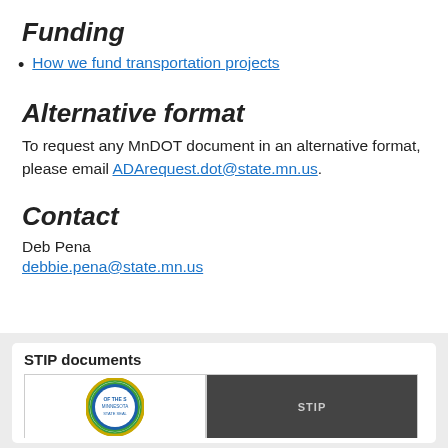Funding
How we fund transportation projects
Alternative format
To request any MnDOT document in an alternative format, please email ADArequest.dot@state.mn.us.
Contact
Deb Pena
debbie.pena@state.mn.us
STIP documents
[Figure (other): STIP documents card with Minnesota state seal and a dark cover image]